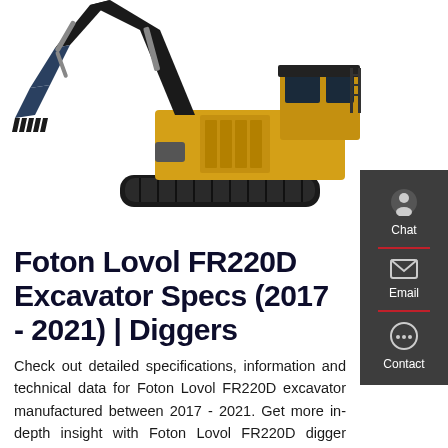[Figure (photo): Large yellow and black Foton Lovol FR220D excavator shown from the side, with bucket raised, on white background]
Foton Lovol FR220D Excavator Specs (2017 - 2021) | Diggers
Check out detailed specifications, information and technical data for Foton Lovol FR220D excavator manufactured between 2017 - 2021. Get more in-depth insight with Foton Lovol FR220D digger specifications on LECTURA Specs.